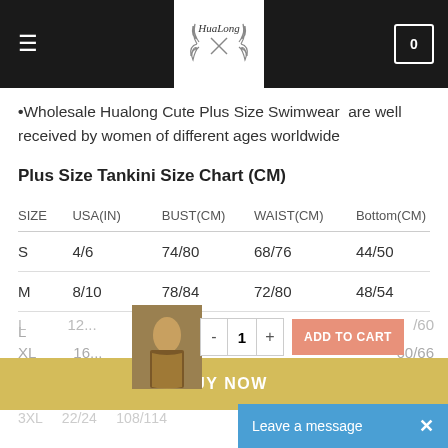[Figure (screenshot): HuaLong website header with hamburger menu, logo, and cart icon showing 0]
•Wholesale Hualong Cute Plus Size Swimwear  are well received by women of different ages worldwide
Plus Size Tankini Size Chart (CM)
| SIZE | USA(IN) | BUST(CM) | WAIST(CM) | Bottom(CM) |
| --- | --- | --- | --- | --- |
| S | 4/6 | 74/80 | 68/76 | 44/50 |
| M | 8/10 | 78/84 | 72/80 | 48/54 |
| L | 12/14 | 82/88 | 76/84 | 52/60 |
| XL | 16/18 | 90/96 | 84/90 | 60/66 |
| 2X | 20/22 | 100/106 | 94/100 | 68/74 |
| 3XL | 22/24 | 108/114 | 102/108 | 76/82 |